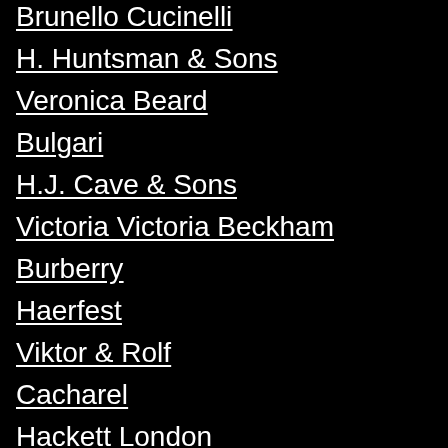Brunello Cucinelli
H. Huntsman & Sons
Veronica Beard
Bulgari
H.J. Cave & Sons
Victoria Victoria Beckham
Burberry
Haerfest
Viktor & Rolf
Cacharel
Hackett London
Vince
Cartier
Haight